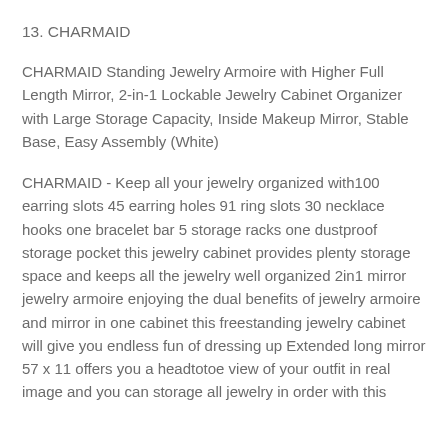13. CHARMAID
CHARMAID Standing Jewelry Armoire with Higher Full Length Mirror, 2-in-1 Lockable Jewelry Cabinet Organizer with Large Storage Capacity, Inside Makeup Mirror, Stable Base, Easy Assembly (White)
CHARMAID - Keep all your jewelry organized with100 earring slots 45 earring holes 91 ring slots 30 necklace hooks one bracelet bar 5 storage racks one dustproof storage pocket this jewelry cabinet provides plenty storage space and keeps all the jewelry well organized 2in1 mirror jewelry armoire enjoying the dual benefits of jewelry armoire and mirror in one cabinet this freestanding jewelry cabinet will give you endless fun of dressing up Extended long mirror 57 x 11 offers you a headtotoe view of your outfit in real image and you can storage all jewelry in order with this